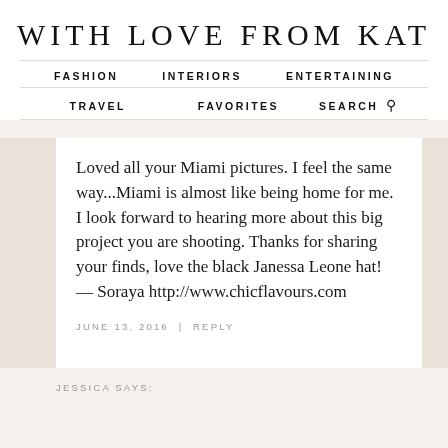WITH LOVE FROM KAT
FASHION   INTERIORS   ENTERTAINING
TRAVEL   FAVORITES   SEARCH
Loved all your Miami pictures. I feel the same way...Miami is almost like being home for me. I look forward to hearing more about this big project you are shooting. Thanks for sharing your finds, love the black Janessa Leone hat! — Soraya http://www.chicflavours.com
JUNE 13, 2016 | REPLY
JESSICA SAYS: